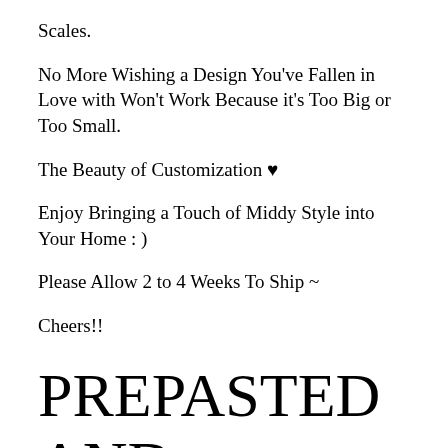Scales.
No More Wishing a Design You've Fallen in Love with Won't Work Because it's Too Big or Too Small.
The Beauty of Customization ♥
Enjoy Bringing a Touch of Middy Style into Your Home : )
Please Allow 2 to 4 Weeks To Ship ~
Cheers!!
PREPASTED AND REMOVABLE